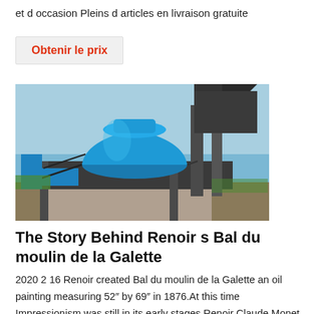et d occasion Pleins d articles en livraison gratuite
Obtenir le prix
[Figure (photo): Industrial blue cone crusher machine mounted on a steel platform structure outdoors, with blue sky background.]
The Story Behind Renoir s Bal du moulin de la Galette
2020 2 16 Renoir created Bal du moulin de la Galette an oil painting measuring 52″ by 69″ in 1876.At this time Impressionism was still in its early stages Renoir Claude Monet Edgar Degas and Camille Pissarro had held the